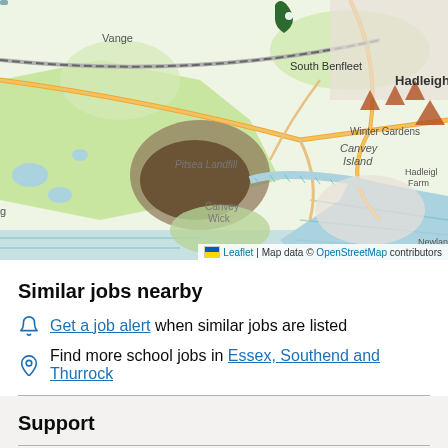[Figure (map): OpenStreetMap showing area around Benfleet, Canvey Island, Hadleigh, Vange, Pitsea Landfill, South Benfleet, Winter Gardens, Canvey Wick, and Newlands areas in Essex, UK. A green location pin is placed near Benfleet.]
Similar jobs nearby
Get a job alert when similar jobs are listed
Find more school jobs in Essex, Southend and Thurrock
Support